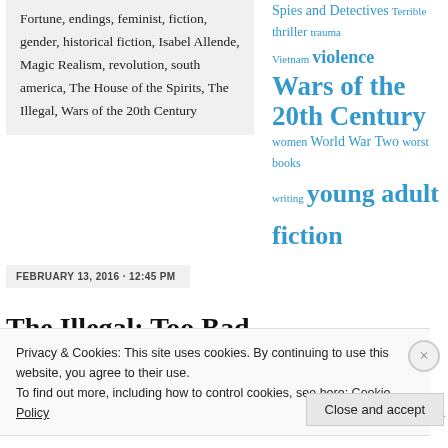Fortune, endings, feminist, fiction, gender, historical fiction, Isabel Allende, Magic Realism, revolution, south america, The House of the Spirits, The Illegal, Wars of the 20th Century
Spies and Detectives Terrible thriller trauma Vietnam violence Wars of the 20th Century women World War Two worst books writing young adult fiction
FEBRUARY 13, 2016 · 12:45 PM
The Illegal: Too Bad Lawrence Hill Likes His…
Recent Comments
cpopovic on Madness of Crowds: You…
Privacy & Cookies: This site uses cookies. By continuing to use this website, you agree to their use. To find out more, including how to control cookies, see here: Cookie Policy
Close and accept